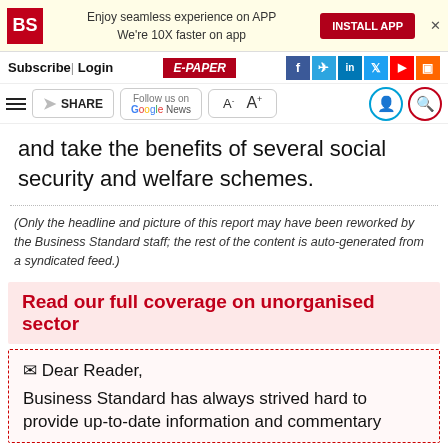BS | Enjoy seamless experience on APP | We're 10X faster on app | INSTALL APP
Subscribe | Login | E-PAPER | f in Twitter YouTube RSS
☰ SHARE | Follow us on Google News | A- A+
and take the benefits of several social security and welfare schemes.
(Only the headline and picture of this report may have been reworked by the Business Standard staff; the rest of the content is auto-generated from a syndicated feed.)
Read our full coverage on unorganised sector
✉ Dear Reader,

Business Standard has always strived hard to provide up-to-date information and commentary